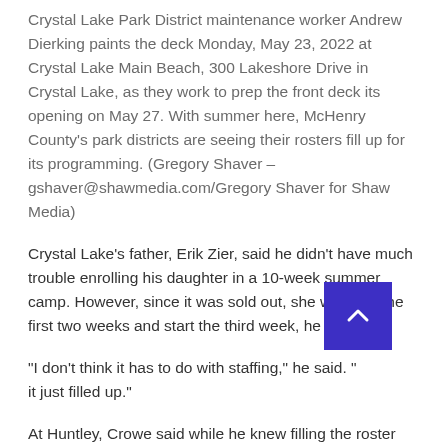Crystal Lake Park District maintenance worker Andrew Dierking paints the deck Monday, May 23, 2022 at Crystal Lake Main Beach, 300 Lakeshore Drive in Crystal Lake, as they work to prep the front deck its opening on May 27. With summer here, McHenry County's park districts are seeing their rosters fill up for its programming. (Gregory Shaver – gshaver@shawmedia.com/Gregory Shaver for Shaw Media)
Crystal Lake's father, Erik Zier, said he didn't have much trouble enrolling his daughter in a 10-week summer camp. However, since it was sold out, she will miss the first two weeks and start the third week, he said.
"I don't think it has to do with staffing," he said. "[...] it just filled up."
At Huntley, Crowe said while he knew filling the roster